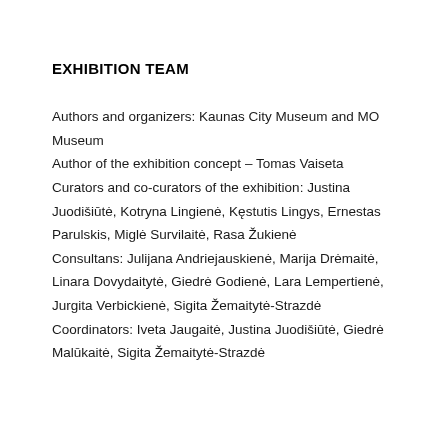EXHIBITION TEAM
Authors and organizers: Kaunas City Museum and MO Museum
Author of the exhibition concept – Tomas Vaiseta
Curators and co-curators of the exhibition: Justina Juodišiūtė, Kotryna Lingienė, Kęstutis Lingys, Ernestas Parulskis, Miglė Survilaitė, Rasa Žukienė
Consultans: Julijana Andriejauskienė, Marija Drėmaitė, Linara Dovydaitytė, Giedrė Godienė, Lara Lempertienė, Jurgita Verbickienė, Sigita Žemaitytė-Strazdė
Coordinators: Iveta Jaugaitė, Justina Juodišiūtė, Giedrė Malūkaitė, Sigita Žemaitytė-Strazdė